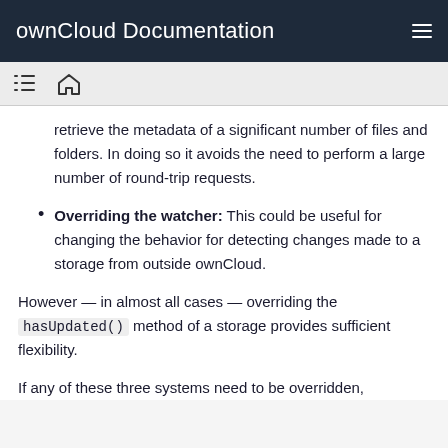ownCloud Documentation
retrieve the metadata of a significant number of files and folders. In doing so it avoids the need to perform a large number of round-trip requests.
Overriding the watcher: This could be useful for changing the behavior for detecting changes made to a storage from outside ownCloud.
However — in almost all cases — overriding the hasUpdated() method of a storage provides sufficient flexibility.
If any of these three systems need to be overridden,